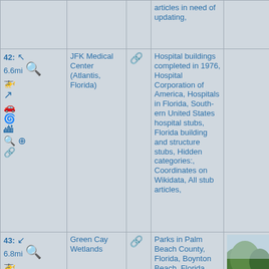| #/Distance/Icons | Name | Link | Categories | Image |
| --- | --- | --- | --- | --- |
| (continued from above) |  |  | articles in need of updating, |  |
| 42: ↖ 6.6mi 🚁 ↗ 🚗 🌀 🏙 🔍 ⊕ 🔗 | JFK Medical Center (Atlantis, Florida) | 🔗 | Hospital buildings completed in 1976, Hospital Corporation of America, Hospitals in Florida, Southern United States hospital stubs, Florida building and structure stubs, Hidden categories:, Coordinates on Wikidata, All stub articles, |  |
| 43: ↙ 6.8mi 🚁 ↗ 🚗 🌀 | Green Cay Wetlands | 🔗 | Parks in Palm Beach County, Florida, Boynton Beach, Florida, Nature centers in Florida, Great Florida Birding | [photo] |